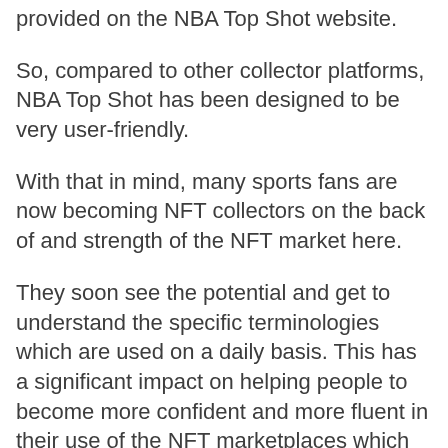provided on the NBA Top Shot website.
So, compared to other collector platforms, NBA Top Shot has been designed to be very user-friendly.
With that in mind, many sports fans are now becoming NFT collectors on the back of and strength of the NFT market here.
They soon see the potential and get to understand the specific terminologies which are used on a daily basis. This has a significant impact on helping people to become more confident and more fluent in their use of the NFT marketplaces which exist.
By making sure that people who are unfamiliar with blockchain tech can get involved, NBA